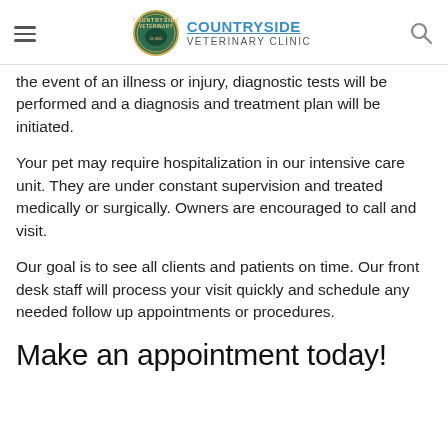COUNTRYSIDE VETERINARY CLINIC
the event of an illness or injury, diagnostic tests will be performed and a diagnosis and treatment plan will be initiated.
Your pet may require hospitalization in our intensive care unit. They are under constant supervision and treated medically or surgically. Owners are encouraged to call and visit.
Our goal is to see all clients and patients on time. Our front desk staff will process your visit quickly and schedule any needed follow up appointments or procedures.
Make an appointment today!